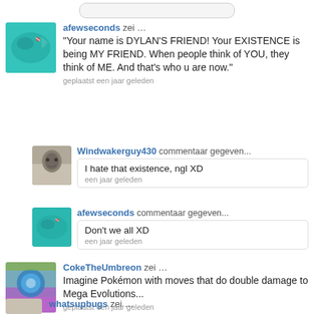[Figure (screenshot): Top search/navigation bar]
afewseconds zei … "Your name is DYLAN'S FRIEND! Your EXISTENCE is being MY FRIEND. When people think of YOU, they think of ME. And that's who u are now." geplaatst een jaar geleden
Windwakerguy430 commentaar gegeven... I hate that existence, ngl XD een jaar geleden
afewseconds commentaar gegeven... Don't we all XD een jaar geleden
CokeTheUmbreon zei … Imagine Pokémon with moves that do double damage to Mega Evolutions... geplaatst een jaar geleden
whatsupbugs zei …